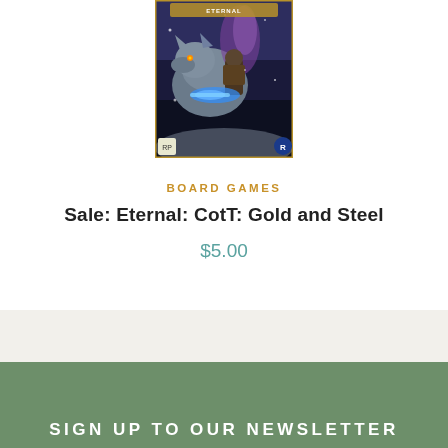[Figure (illustration): Game box art for Eternal: CotT: Gold and Steel, showing a warrior character with a large wolf creature in a fantasy/action scene with blue and purple tones.]
BOARD GAMES
Sale: Eternal: CotT: Gold and Steel
$5.00
SIGN UP TO OUR NEWSLETTER